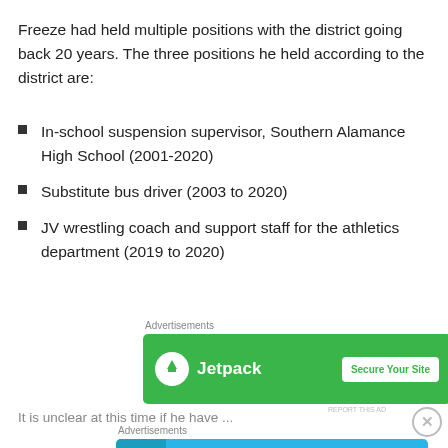Freeze had held multiple positions with the district going back 20 years. The three positions he held according to the district are:
In-school suspension supervisor, Southern Alamance High School (2001-2020)
Substitute bus driver (2003 to 2020)
JV wrestling coach and support staff for the athletics department (2019 to 2020)
[Figure (screenshot): Green Jetpack advertisement banner with logo and 'Secure Your Site' button]
It is unclear at this time if he have ...
[Figure (screenshot): Blue DayOne 'Your Journal for life' advertisement banner]